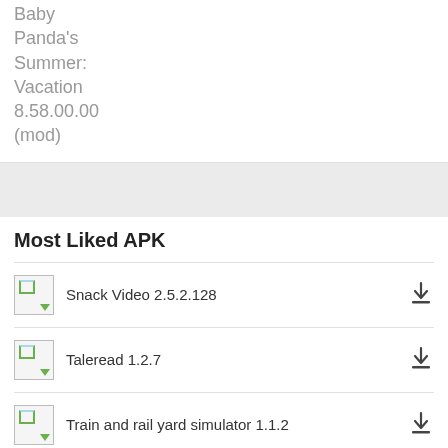Baby Panda's Summer: Vacation 8.58.00.00 (mod)
Most Liked APK
Snack Video 2.5.2.128
Taleread 1.2.7
Train and rail yard simulator 1.1.2
Crush Castle : Idle Tycoon